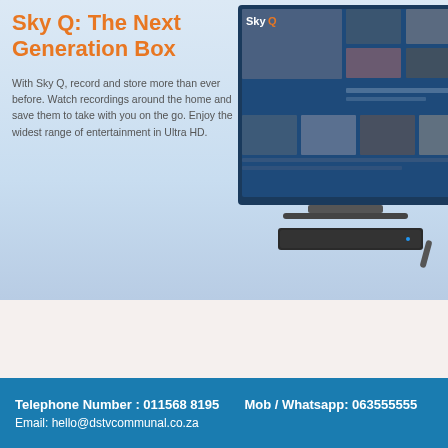[Figure (illustration): Sky Q: The Next Generation Box promotional banner with product imagery showing a Sky Q box and TV screen with on-demand content interface]
Sky Q: The Next Generation Box
With Sky Q, record and store more than ever before. Watch recordings around the home and save them to take with you on the go. Enjoy the widest range of entertainment in Ultra HD.
Telephone Number : 011568 8195     Mob / Whatsapp: 063555555     Email: hello@dstvcommunal.co.za